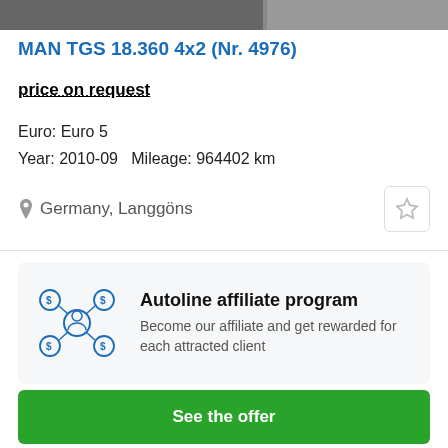[Figure (photo): Top strip showing two vehicle images partially cut off at the top of the page]
MAN TGS 18.360 4x2 (Nr. 4976)
price on request
Euro: Euro 5
Year: 2010-09   Mileage: 964402 km
Germany, Langgöns
[Figure (infographic): Autoline affiliate program icon showing a network of people with dollar signs connected by lines]
Autoline affiliate program
Become our affiliate and get rewarded for each attracted client
See the offer